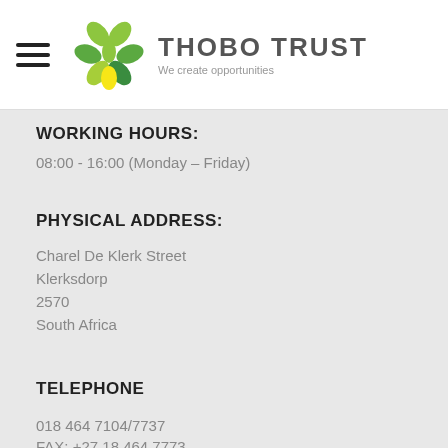THOBO TRUST — We create opportunities
WORKING HOURS:
08:00 - 16:00 (Monday – Friday)
PHYSICAL ADDRESS:
Charel De Klerk Street
Klerksdorp
2570
South Africa
TELEPHONE
018 464 7104/7737
FAX: +27 18 464 7773